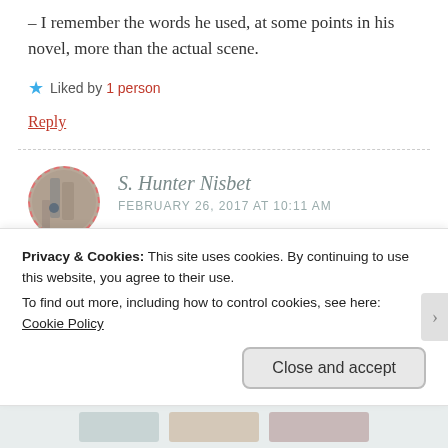– I remember the words he used, at some points in his novel, more than the actual scene.
★ Liked by 1 person
Reply
S. Hunter Nisbet
FEBRUARY 26, 2017 AT 10:11 AM
Certainly resonates into HD, as it does with
Privacy & Cookies: This site uses cookies. By continuing to use this website, you agree to their use.
To find out more, including how to control cookies, see here: Cookie Policy